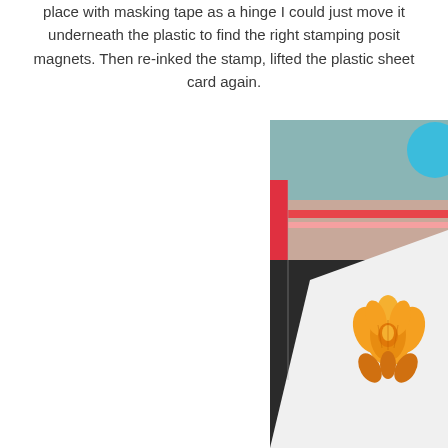place with masking tape as a hinge I could just move it underneath the plastic to find the right stamping position with magnets. Then re-inked the stamp, lifted the plastic sheet, and stamped the card again.
[Figure (photo): A photograph showing crafting supplies on a dark surface: a ruler with red and pink stripes along the left edge, a teal/grey background board, a blue circular object in the top right corner, and a white card stock with an orange lotus flower stamp design on it.]